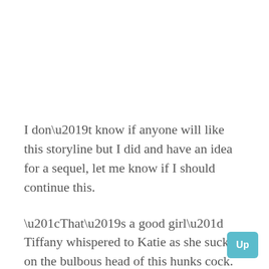I don't know if anyone will like this storyline but I did and have an idea for a sequel, let me know if I should continue this.
“That’s a good girl” Tiffany whispered to Katie as she sucked on the bulbous head of this hunks cock. As her mouth